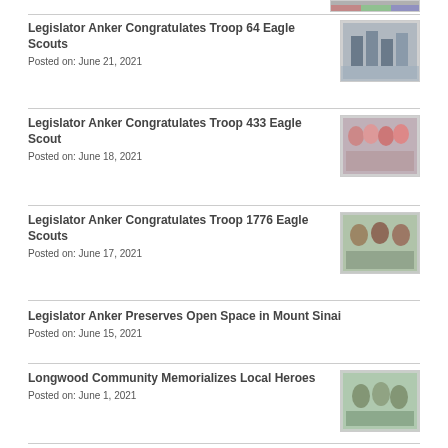[Figure (photo): Partial thumbnail image at top right]
Legislator Anker Congratulates Troop 64 Eagle Scouts
Posted on: June 21, 2021
Legislator Anker Congratulates Troop 433 Eagle Scout
Posted on: June 18, 2021
Legislator Anker Congratulates Troop 1776 Eagle Scouts
Posted on: June 17, 2021
Legislator Anker Preserves Open Space in Mount Sinai
Posted on: June 15, 2021
Longwood Community Memorializes Local Heroes
Posted on: June 1, 2021